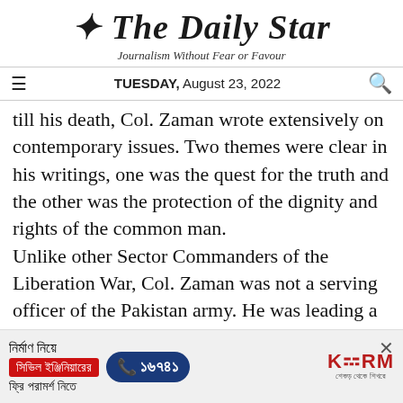The Daily Star
Journalism Without Fear or Favour
TUESDAY, August 23, 2022
till his death, Col. Zaman wrote extensively on contemporary issues. Two themes were clear in his writings, one was the quest for the truth and the other was the protection of the dignity and rights of the common man.
Unlike other Sector Commanders of the Liberation War, Col. Zaman was not a serving officer of the Pakistan army. He was leading a quiet civilian life when the War started. He joined
[Figure (advertisement): KSRM construction advertisement in Bengali. Text: নির্মাণ নিয়ে, সিভিল ইঞ্জিনিয়ারের ফ্রি পরামর্শ নিতে, phone number ১৬৭৪১, KSRM logo with tagline]